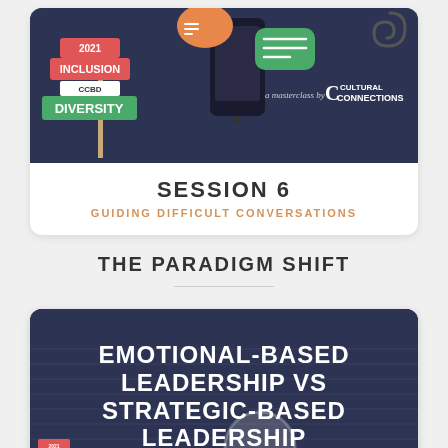[Figure (illustration): Top card illustration showing street signs reading INCLUSION and DIVERSITY with CCBD, a smartphone with chat bubbles, and 'a masterclass by Cultural Connections' text on a dark navy background.]
SESSION 6
GUIDING DIFFICULT CONVERSATIONS
THE PARADIGM SHIFT
[Figure (illustration): Bottom card with dark navy background showing text overlay: EMOTIONAL-BASED LEADERSHIP VS STRATEGIC-BASED LEADERSHIP with a magnifying glass graphic and small inclusion/diversity sign in corner.]